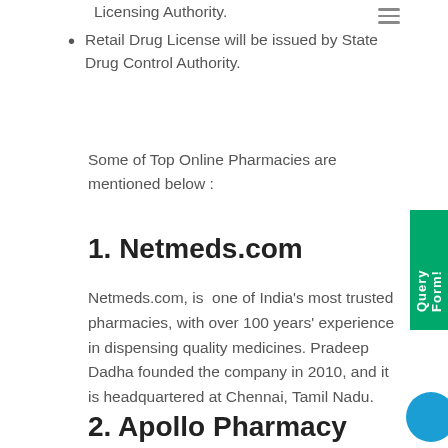Licensing Authority.
Retail Drug License will be issued by State Drug Control Authority.
Some of Top Online Pharmacies are mentioned below :
1. Netmeds.com
Netmeds.com, is one of India's most trusted pharmacies, with over 100 years' experience in dispensing quality medicines. Pradeep Dadha founded the company in 2010, and it is headquartered at Chennai, Tamil Nadu.
2. Apollo Pharmacy Online Medical Sto...